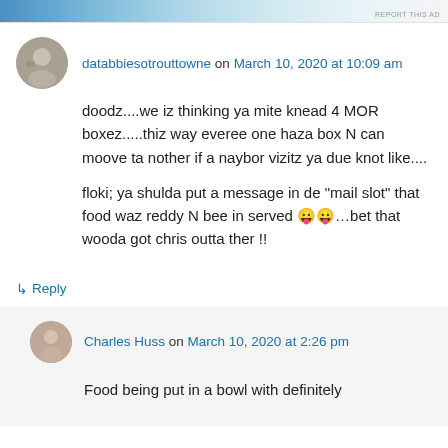[Figure (other): Advertisement banner with blue gradient]
databbiesotrouttowne on March 10, 2020 at 10:09 am
doodz....we iz thinking ya mite knead 4 MOR boxez.....thiz way everee one haza box N can moove ta nother if a naybor vizitz ya due knot like....
floki; ya shulda put a message in de "mail slot" that food waz reddy N bee in served 😛😛...bet that wooda got chris outta ther !!
↳ Reply
Charles Huss on March 10, 2020 at 2:26 pm
Food being put in a bowl with definitely